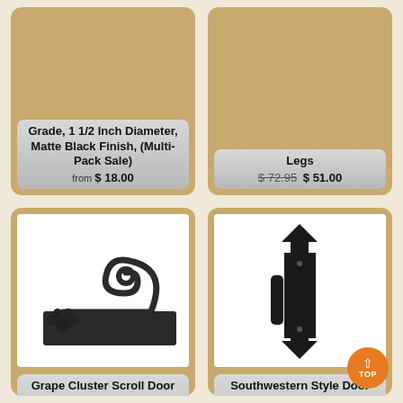[Figure (photo): Product card (top left, partially cropped): grade 1 1/2 inch diameter matte black finish multi-pack sale item. Price box shows 'from $18.00'.]
Grade, 1 1/2 Inch Diameter, Matte Black Finish, (Multi-Pack Sale)
from $ 18.00
[Figure (photo): Product card (top right, partially cropped): item with legs. Price shows $72.95 crossed out, $51.00.]
Legs
$ 72.95 $ 51.00
[Figure (photo): Product card (bottom left): Grape Cluster Scroll Door Pull - Barn Door Handle - Medium Size. Photo of an ornate black iron scroll door pull on a rectangular plate.]
Grape Cluster Scroll Door Pull - Barn Door Handle - Medium Size
$ 109.95 $ 89.95
[Figure (photo): Product card (bottom right): Southwestern Style Door Pull - Apache - Barn Door Handle. Photo of a black matte barn door pull with arrow-shaped backplate.]
Southwestern Style Door Pull - Apache - Barn Door Handle
$ 42.95